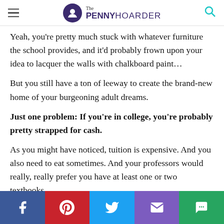The PENNY HOARDER
Yeah, you're pretty much stuck with whatever furniture the school provides, and it'd probably frown upon your idea to lacquer the walls with chalkboard paint…
But you still have a ton of leeway to create the brand-new home of your burgeoning adult dreams.
Just one problem: If you're in college, you're probably pretty strapped for cash.
As you might have noticed, tuition is expensive. And you also need to eat sometimes. And your professors would really, really prefer you have at least one or two textbooks.
Well, no one said adulting was going to be easy.
Dorm Room Decorations That
Facebook Pinterest Twitter Email Chat